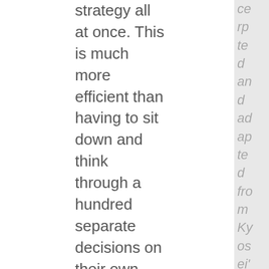strategy all at once. This is much more efficient than having to sit down and think through a hundred separate decisions on their own. The fly-by-the-seat-of-their-pants types are
ce rp te d an d ad ap te d fro m Ky os ei' s eb